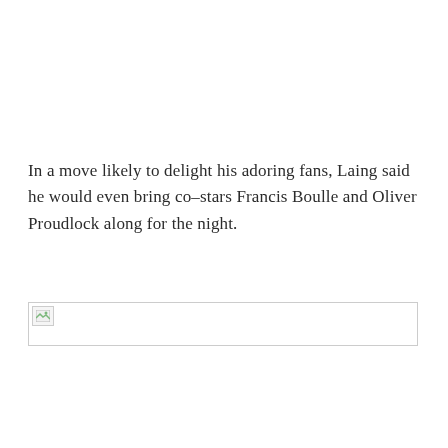In a move likely to delight his adoring fans, Laing said he would even bring co–stars Francis Boulle and Oliver Proudlock along for the night.
[Figure (photo): Broken/unloaded image placeholder shown as a thin horizontal rectangle with a small broken image icon in the top-left corner.]